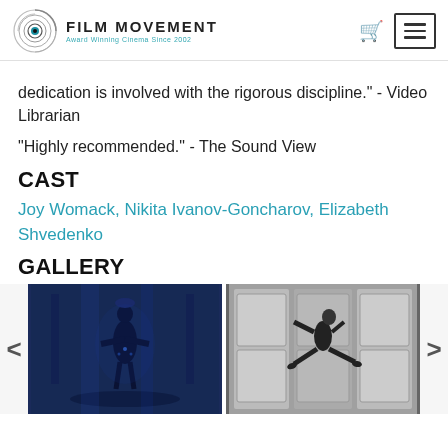FILM MOVEMENT - Award Winning Cinema Since 2002
dedication is involved with the rigorous discipline." - Video Librarian
"Highly recommended." - The Sound View
CAST
Joy Womack, Nikita Ivanov-Goncharov, Elizabeth Shvedenko
GALLERY
[Figure (photo): Gallery showing two film stills: left image shows a ballet dancer in blue-lit stage performance; right image is a black and white photo of a dancer leaping in a grand interior with paneled walls.]